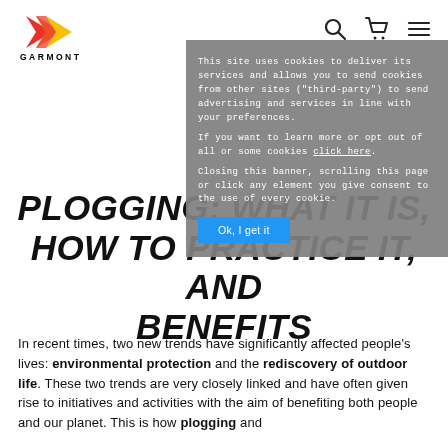[Figure (logo): Garmont logo with red/yellow/orange abstract arrow shape and 'GARMONT' text below]
[Figure (infographic): Navigation icons: search (magnifying glass), cart, and hamburger menu]
This site uses cookies to deliver its services and allows you to send cookies from other sites ("third-party") to send advertising and services in line with your preferences. If you want to learn more or opt out of all or some cookies click here. Closing this banner, scrolling this page or click any element you give consent to the use of every cookie.
Ok, I get it
PLOGGING: WHAT IT IS, HOW TO PRACTICE IT, AND BENEFITS
In recent times, two new trends have significantly affected people's lives: environmental protection and the rediscovery of outdoor life. These two trends are very closely linked and have often given rise to initiatives and activities with the aim of benefiting both people and our planet. This is how plogging and